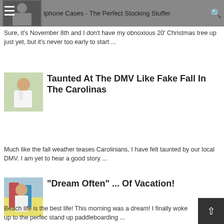Iphone Cases - The Perfect Stocking Stuffer
Sure, it's November 8th and I don't have my obnoxious 20' Christmas tree up just yet, but it's never too early to start ...
Taunted At The DMV Like Fake Fall In The Carolinas
Much like the fall weather teases Carolinians, I have felt taunted by our local DMV. I am yet to hear a good story ...
"Dream Often" ... Of Vacation!
Beach life is the best life!  This morning was a dream! I finally woke up to the perfec stand up paddleboarding ...